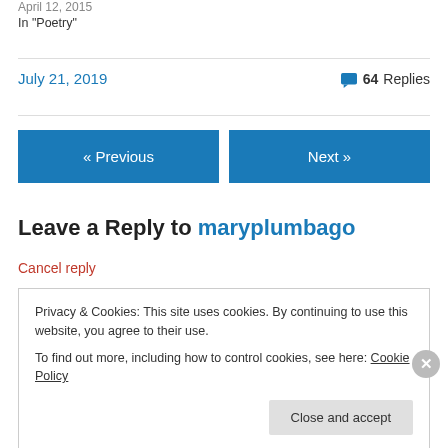April 12, 2015
In "Poetry"
July 21, 2019
64 Replies
« Previous
Next »
Leave a Reply to maryplumbago
Cancel reply
Privacy & Cookies: This site uses cookies. By continuing to use this website, you agree to their use.
To find out more, including how to control cookies, see here: Cookie Policy
Close and accept